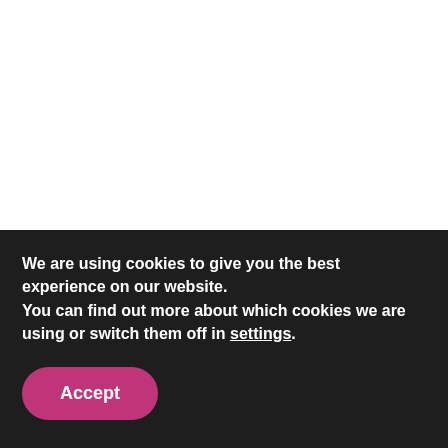The cabin – which is a piece of art in itself, built using the available resources and leaving
We are using cookies to give you the best experience on our website.
You can find out more about which cookies we are using or switch them off in settings.
Accept